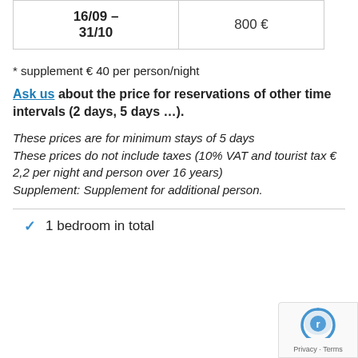| Date Range | Price |
| --- | --- |
| 16/09 – 31/10 | 800 € |
* supplement € 40 per person/night
Ask us about the price for reservations of other time intervals (2 days, 5 days …). These prices are for minimum stays of 5 days. These prices do not include taxes (10% VAT and tourist tax € 2,2 per night and person over 16 years) Supplement: Supplement for additional person.
1 bedroom in total